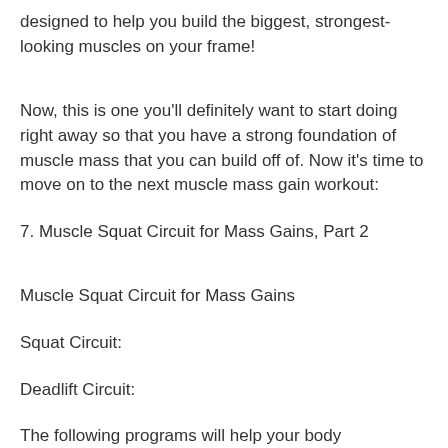designed to help you build the biggest, strongest-looking muscles on your frame!
Now, this is one you'll definitely want to start doing right away so that you have a strong foundation of muscle mass that you can build off of. Now it's time to move on to the next muscle mass gain workout:
7. Muscle Squat Circuit for Mass Gains, Part 2
Muscle Squat Circuit for Mass Gains
Squat Circuit:
Deadlift Circuit:
The following programs will help your body